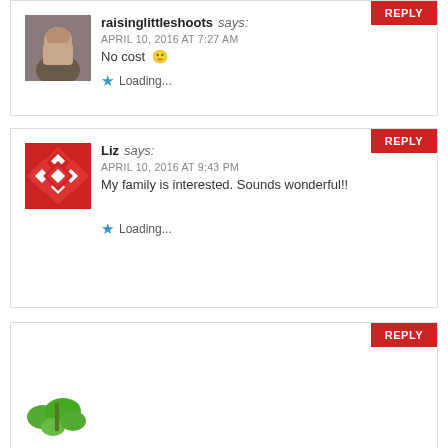raisinglittleshoots says: APRIL 10, 2016 AT 7:27 AM
No cost 🙂
Loading...
Liz says: APRIL 10, 2016 AT 9:43 PM
My family is interested. Sounds wonderful!!
Loading...
REPLY